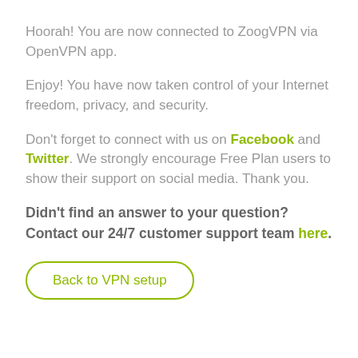Hoorah! You are now connected to ZoogVPN via OpenVPN app.
Enjoy! You have now taken control of your Internet freedom, privacy, and security.
Don't forget to connect with us on Facebook and Twitter. We strongly encourage Free Plan users to show their support on social media. Thank you.
Didn't find an answer to your question? Contact our 24/7 customer support team here.
Back to VPN setup